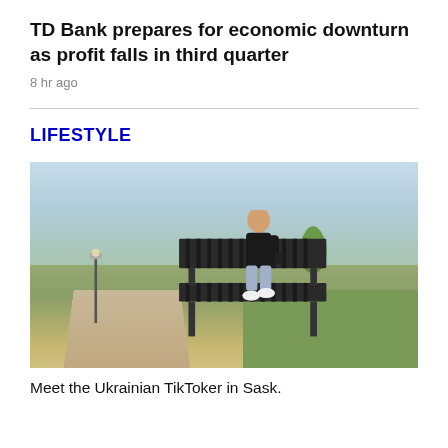TD Bank prepares for economic downturn as profit falls in third quarter
8 hr ago
LIFESTYLE
[Figure (photo): Young man sitting on a park bench looking at his phone, outdoors in a suburban park setting with trees, a path, grass, and a lamppost visible in the background during golden hour.]
Meet the Ukrainian TikToker in Sask.